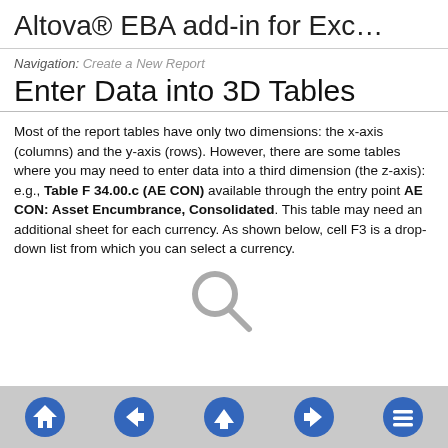Altova® EBA add-in for Exc…
Navigation: Create a New Report
Enter Data into 3D Tables
Most of the report tables have only two dimensions: the x-axis (columns) and the y-axis (rows). However, there are some tables where you may need to enter data into a third dimension (the z-axis): e.g., Table F 34.00.c (AE CON) available through the entry point AE CON: Asset Encumbrance, Consolidated. This table may need an additional sheet for each currency. As shown below, cell F3 is a drop-down list from which you can select a currency.
[Figure (other): Magnifying glass search icon (greyed out placeholder)]
Navigation icons: Home, Back, Up, Forward, Menu